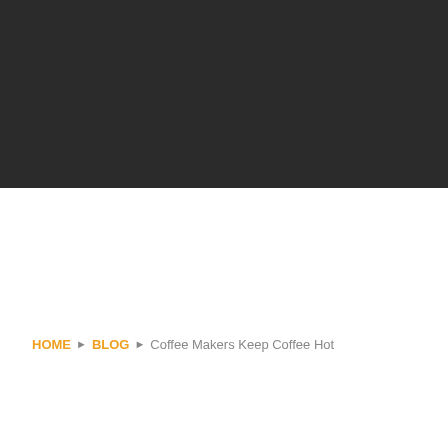[Figure (photo): Dark gray/black header image area filling the top portion of the page]
HOME ▶ BLOG ▶ Coffee Makers Keep Coffee Hot